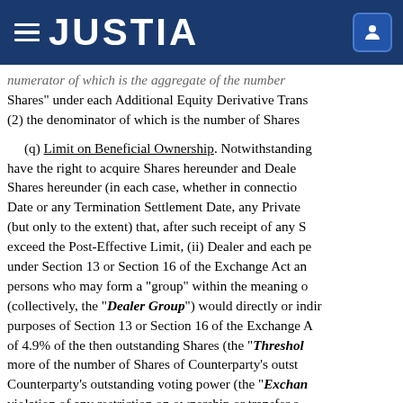JUSTIA
numerator of which is the aggregate of the number of "Number of Shares" under each Additional Equity Derivative Transaction, and (2) the denominator of which is the number of Shares
(q) Limit on Beneficial Ownership. Notwithstanding, have the right to acquire Shares hereunder and Dealer to deliver Shares hereunder (in each case, whether in connection with any Settlement Date or any Termination Settlement Date, any Private Placement) (but only to the extent) that, after such receipt of any Shares, would exceed the Post-Effective Limit, (ii) Dealer and each person subject to under Section 13 or Section 16 of the Exchange Act and any other persons who may form a "group" within the meaning of (collectively, the "Dealer Group") would directly or indirectly for purposes of Section 13 or Section 16 of the Exchange Act, in excess of 4.9% of the then outstanding Shares (the "Threshold") or more of the number of Shares of Counterparty's outstanding or Counterparty's outstanding voting power (the "Exchange") in violation of any restriction on ownership or transfer s